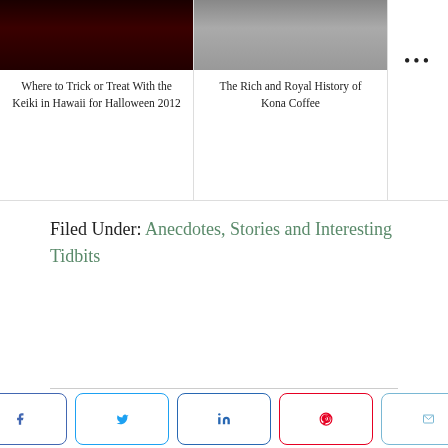[Figure (photo): Dark reddish image for Halloween article]
Where to Trick or Treat With the Keiki in Hawaii for Halloween 2012
[Figure (photo): Grayscale textured image for Kona Coffee article]
The Rich and Royal History of Kona Coffee
Filed Under: Anecdotes, Stories and Interesting Tidbits
About Beyond Honolulu
Beyond Honolulu takes you